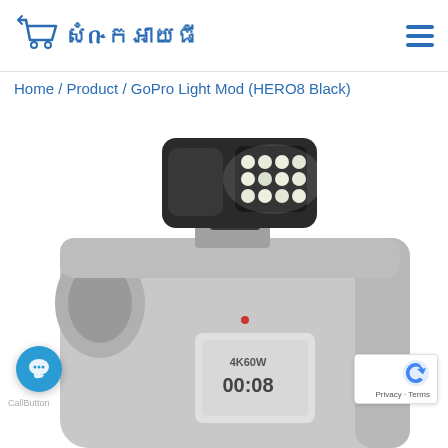[Figure (logo): Shopping cart icon logo with Khmer text in blue]
Home / Product / GoPro Light Mod (HERO8 Black)
[Figure (photo): GoPro Light Mod accessory with LED lights mounted on top of a GoPro HERO8 Black camera. The light mod is a black rectangular module with 12 bright white LEDs. The camera below shows a timer display reading 00:08 and 4K60W label.]
[Figure (logo): reCAPTCHA logo with Privacy and Terms links]